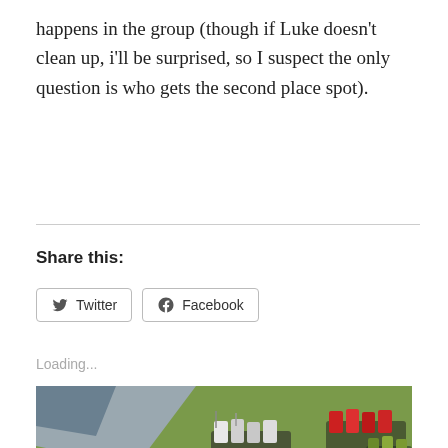happens in the group (though if Luke doesn't clean up, i'll be surprised, so I suspect the only question is who gets the second place spot).
Share this:
Loading...
[Figure (photo): Photo of painted miniature wargaming figures on a green game board, including cavalry and infantry units in various colors including red, white, and purple.]